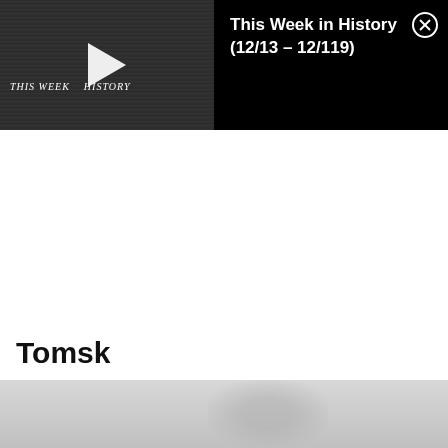[Figure (screenshot): Video player thumbnail showing 'THIS WEEK IN HISTORY' with a play button overlay, dark newspaper background texture]
This Week in History (12/13 – 12/119)
Tomsk
[Figure (photo): Partial image strip at bottom of page, light gray, with faint figure silhouette on right side]